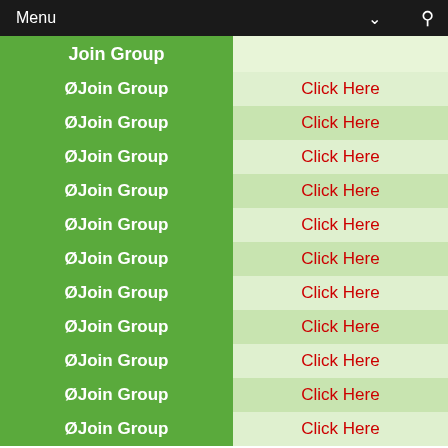Menu
| Join Group |  |
| --- | --- |
| Ø Join Group | Click Here |
| Ø Join Group | Click Here |
| Ø Join Group | Click Here |
| Ø Join Group | Click Here |
| Ø Join Group | Click Here |
| Ø Join Group | Click Here |
| Ø Join Group | Click Here |
| Ø Join Group | Click Here |
| Ø Join Group | Click Here |
| Ø Join Group | Click Here |
| Ø Join Group | Click Here |